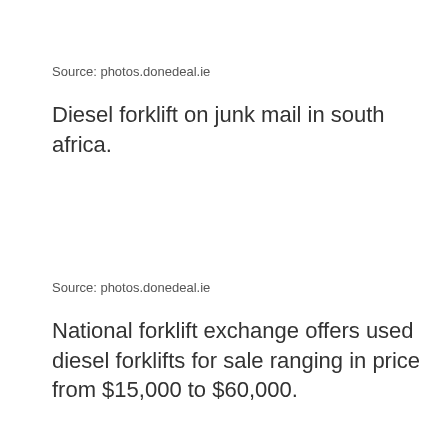Source: photos.donedeal.ie
Diesel forklift on junk mail in south africa.
Source: photos.donedeal.ie
National forklift exchange offers used diesel forklifts for sale ranging in price from $15,000 to $60,000.